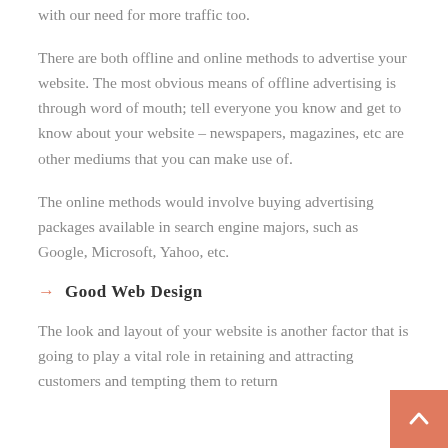with our need for more traffic too.
There are both offline and online methods to advertise your website. The most obvious means of offline advertising is through word of mouth; tell everyone you know and get to know about your website – newspapers, magazines, etc are other mediums that you can make use of.
The online methods would involve buying advertising packages available in search engine majors, such as Google, Microsoft, Yahoo, etc.
Good Web Design
The look and layout of your website is another factor that is going to play a vital role in retaining and attracting customers and tempting them to return